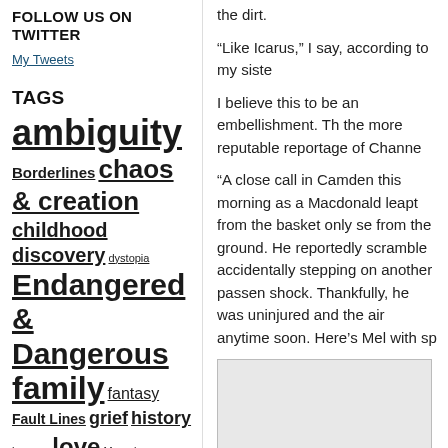FOLLOW US ON TWITTER
My Tweets
TAGS
ambiguity
Borderlines
chaos & creation
childhood
discovery
dystopia
Endangered & Dangerous
family
fantasy
Fault Lines
grief
history
humour
love
Memoir
memory
mortality
pockets
Polygraph
the dirt.
“Like Icarus,” I say, according to my siste
I believe this to be an embellishment. Th the more reputable reportage of Channe
“A close call in Camden this morning as a Macdonald leapt from the basket only se from the ground. He reportedly scramble accidentally stepping on another passen shock. Thankfully, he was uninjured and the air anytime soon. Here’s Mel with sp
[Figure (screenshot): Embedded grey rectangle placeholder, likely a video or image embed]